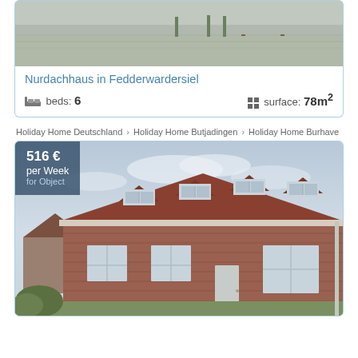[Figure (photo): Top portion of a holiday home exterior photo, showing garden/terrace area]
Nurdachhaus in Fedderwardersiel
beds: 6   surface: 78m²
Holiday Home Deutschland › Holiday Home Butjadingen › Holiday Home Burhave
[Figure (photo): Exterior photo of brick holiday homes with red tile roofs and dormer windows in Burhave, with price badge showing 516 € per Week for Object]